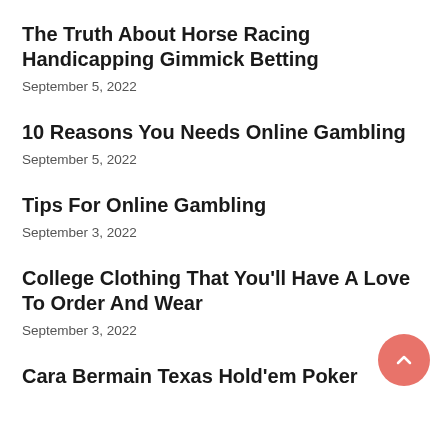The Truth About Horse Racing Handicapping Gimmick Betting
September 5, 2022
10 Reasons You Needs Online Gambling
September 5, 2022
Tips For Online Gambling
September 3, 2022
College Clothing That You'll Have A Love To Order And Wear
September 3, 2022
Cara Bermain Texas Hold'em Poker